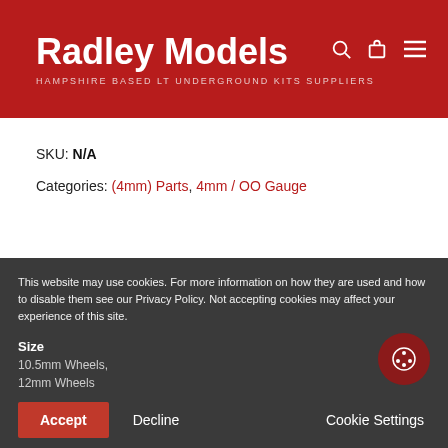Radley Models — HAMPSHIRE BASED LT UNDERGROUND KITS SUPPLIERS
SKU: N/A
Categories: (4mm) Parts, 4mm / OO Gauge
Additional information
This website may use cookies. For more information on how they are used and how to disable them see our Privacy Policy. Not accepting cookies may affect your experience of this site.
| Size |  |
| --- | --- |
| Size | 10.5mm Wheels, 12mm Wheels |
Accept   Decline   Cookie Settings